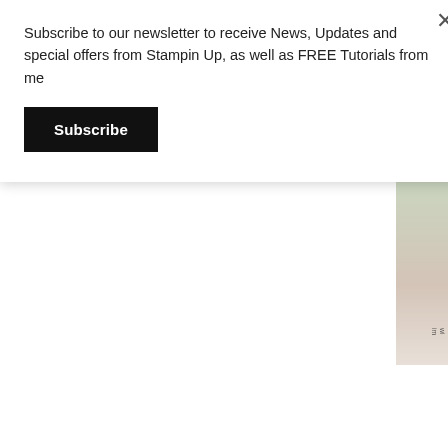Subscribe to our newsletter to receive News, Updates and special offers from Stampin Up, as well as FREE Tutorials from me
Subscribe
Measurements
Sahara Sand Cardstock